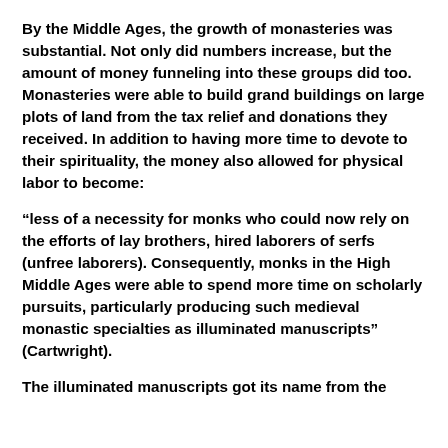By the Middle Ages, the growth of monasteries was substantial. Not only did numbers increase, but the amount of money funneling into these groups did too. Monasteries were able to build grand buildings on large plots of land from the tax relief and donations they received. In addition to having more time to devote to their spirituality, the money also allowed for physical labor to become:
“less of a necessity for monks who could now rely on the efforts of lay brothers, hired laborers of serfs (unfree laborers). Consequently, monks in the High Middle Ages were able to spend more time on scholarly pursuits, particularly producing such medieval monastic specialties as illuminated manuscripts” (Cartwright).
The illuminated manuscripts got its name from the